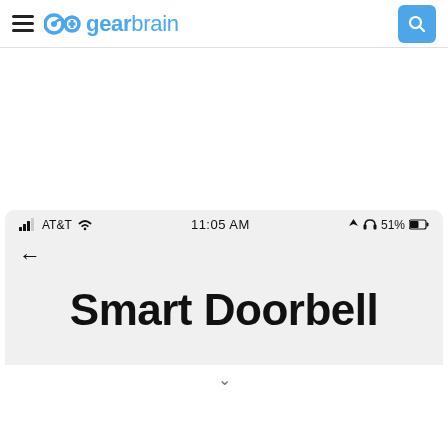gearbrain
[Figure (screenshot): Mobile app screenshot showing AT&T 11:05 AM status bar and Smart Doorbell screen title with back arrow]
Smart Doorbell